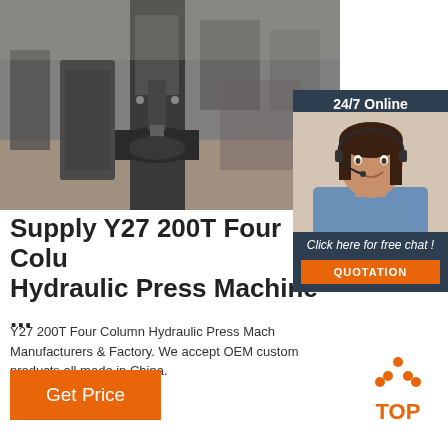[Figure (photo): Close-up photo of a Y27 200T Four Column Hydraulic Press Machine in a factory setting, showing heavy metal machinery parts]
[Figure (photo): Chat widget with a 24/7 Online support representative (woman with headset), 'Click here for free chat!' text and QUOTATION button]
Supply Y27 200T Four Column Hydraulic Press Machine ...
Y27 200T Four Column Hydraulic Press Machine Manufacturers & Factory. We accept OEM custom products all made in China.
[Figure (other): Get Price orange button]
[Figure (logo): TOP logo with orange dot triangle above the word TOP in orange]